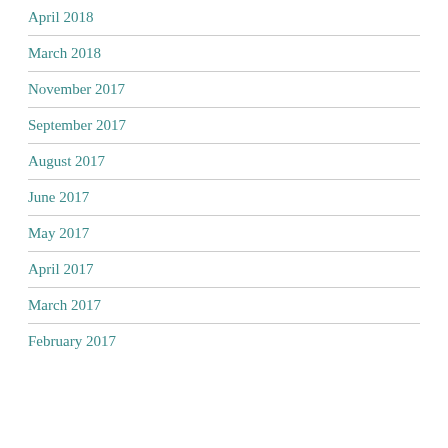April 2018
March 2018
November 2017
September 2017
August 2017
June 2017
May 2017
April 2017
March 2017
February 2017